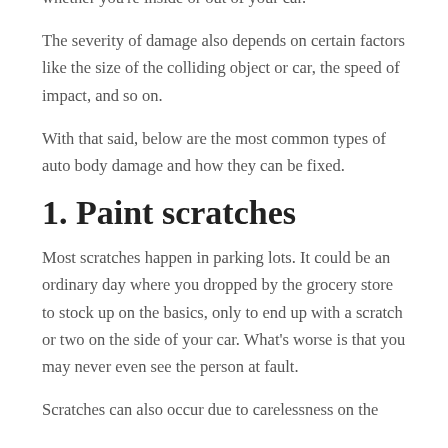whether you're inside or out of your car.
The severity of damage also depends on certain factors like the size of the colliding object or car, the speed of impact, and so on.
With that said, below are the most common types of auto body damage and how they can be fixed.
1.  Paint scratches
Most scratches happen in parking lots. It could be an ordinary day where you dropped by the grocery store to stock up on the basics, only to end up with a scratch or two on the side of your car. What’s worse is that you may never even see the person at fault.
Scratches can also occur due to carelessness on the